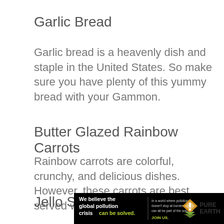Garlic Bread
Garlic bread is a heavenly dish and staple in the United States. So make sure you have plenty of this yummy bread with your Gammon.
Butter Glazed Rainbow Carrots
Rainbow carrots are colorful, crunchy, and delicious dishes. However, these carrots are best served warmly.
Jello Salad
[Figure (infographic): Pure Earth advertisement banner: black background with text 'We believe the global pollution crisis can be solved.' and Pure Earth logo on the right.]